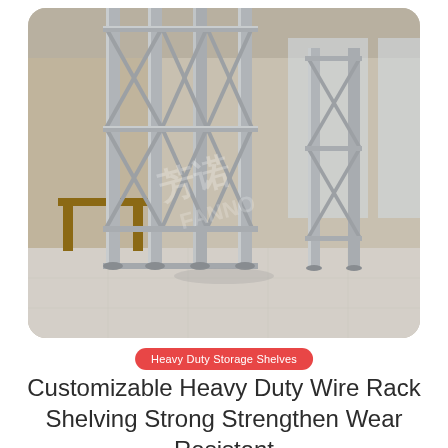[Figure (photo): Tall heavy-duty metal wire rack shelving units with X-brace supports, galvanized steel finish, displayed in a showroom with tiled floor and windowed background. Chinese watermark text visible in center of image.]
Heavy Duty Storage Shelves
Customizable Heavy Duty Wire Rack Shelving Strong Strengthen Wear Resistant